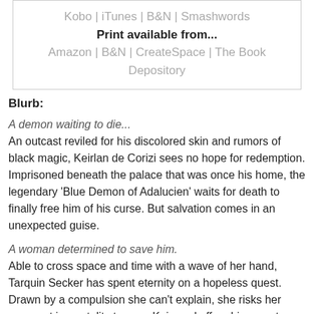Kobo | iTunes | B&N | Smashwords
Print available from...
Amazon | B&N | CreateSpace | The Book Depository
Blurb:
A demon waiting to die...
An outcast reviled for his discolored skin and rumors of black magic, Keirlan de Corizi sees no hope for redemption. Imprisoned beneath the palace that was once his home, the legendary 'Blue Demon of Adalucien' waits for death to finally free him of his curse. But salvation comes in an unexpected guise.
A woman determined to save him.
Able to cross space and time with a wave of her hand, Tarquin Secker has spent eternity on a hopeless quest. Drawn by a compulsion she can't explain, she risks her apparent immortality to save Keir, and offers him sanctuary on her home-world, Lyagnius. But Quin has secrets of her own.